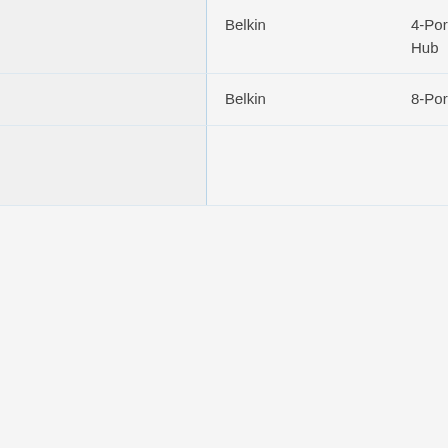|  | Brand | Product | Model |  |
| --- | --- | --- | --- | --- |
|  | Belkin | 4-Port Ultra-Slim Desktop Hub | F4U040 | 0 |
|  | Belkin | 8-Port ExpressBus for iMac | F5U010 |  |
|  |  |  |  |  |